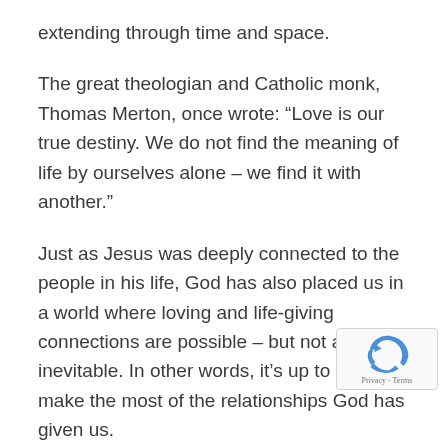extending through time and space.
The great theologian and Catholic monk, Thomas Merton, once wrote: “Love is our true destiny. We do not find the meaning of life by ourselves alone – we find it with another.”
Just as Jesus was deeply connected to the people in his life, God has also placed us in a world where loving and life-giving connections are possible – but not always inevitable. In other words, it’s up to us to make the most of the relationships God has given us.
Over the past few days, I’ve preached at four worship services, attended our amazing children’s Christmas Program (“N Possible”) and hosted our annual staff Christmas party wealth is measured by the joy of our connections with one